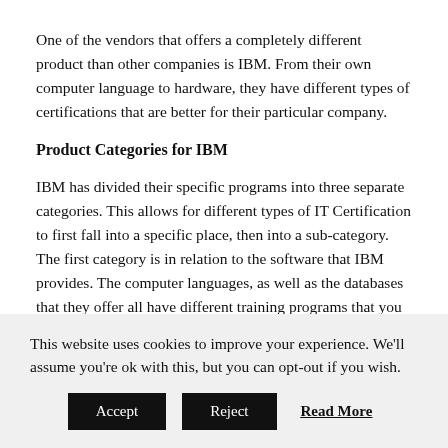One of the vendors that offers a completely different product than other companies is IBM. From their own computer language to hardware, they have different types of certifications that are better for their particular company.
Product Categories for IBM
IBM has divided their specific programs into three separate categories. This allows for different types of IT Certification to first fall into a specific place, then into a sub-category. The first category is in relation to the software that IBM provides. The computer languages, as well as the databases that they offer all have different training programs that you can learn in order to understand and use their software more effectively. The second category is related to the [text cut off]
This website uses cookies to improve your experience. We'll assume you're ok with this, but you can opt-out if you wish.